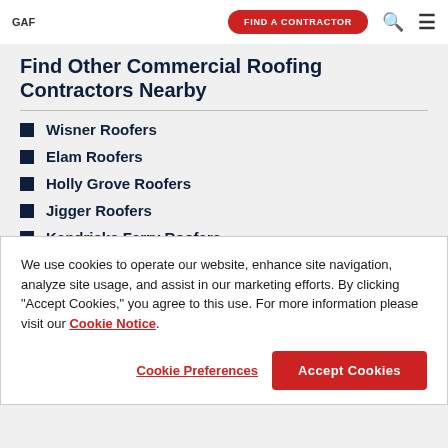GAF | FIND A CONTRACTOR
Find Other Commercial Roofing Contractors Nearby
Wisner Roofers
Elam Roofers
Holly Grove Roofers
Jigger Roofers
Kendricks Ferry Roofers
Gilbert Roofers
We use cookies to operate our website, enhance site navigation, analyze site usage, and assist in our marketing efforts. By clicking "Accept Cookies," you agree to this use. For more information please visit our Cookie Notice.
Cookie Preferences | Accept Cookies